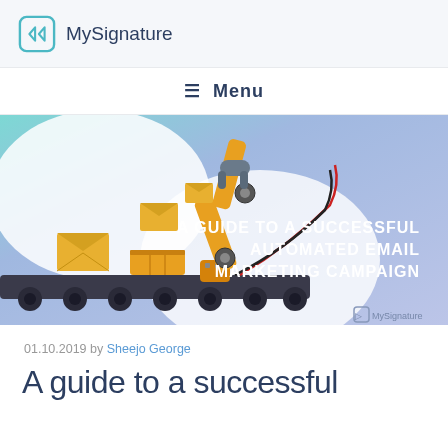MySignature
≡ Menu
[Figure (illustration): Hero banner illustration showing an industrial robotic arm moving yellow envelope/package items on a conveyor belt, against a light blue and lavender gradient background with white cloud shapes. Text overlay reads: A GUIDE TO A SUCCESSFUL AUTOMATED EMAIL MARKETING CAMPAIGN. MySignature logo bottom right.]
01.10.2019 by Sheejo George
A guide to a successful